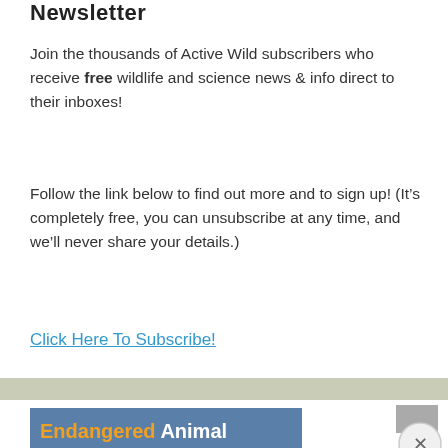Newsletter
Join the thousands of Active Wild subscribers who receive free wildlife and science news & info direct to their inboxes!
Follow the link below to find out more and to sign up! (It’s completely free, you can unsubscribe at any time, and we’ll never share your details.)
Click Here To Subscribe!
[Figure (illustration): Endangered Animal Story Books banner with orange and white text on blue background, with a grey close button]